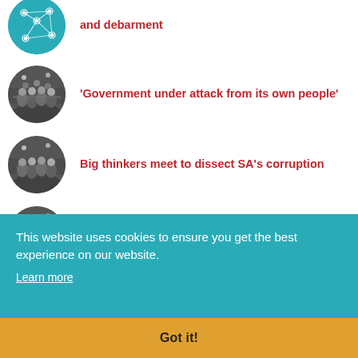and debarment
'Government under attack from its own people'
Big thinkers meet to dissect SA's corruption
Join us, businesses are urged
This website uses cookies to ensure you get the best experience on our website. Learn more
Got it!